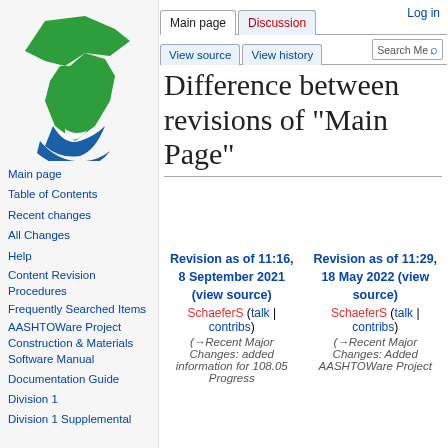Log in
[Figure (logo): Michigan Department of Transportation logo with green Michigan state map and blue wave]
Main page
Table of Contents
Recent changes
All Changes
Help
Content Revision Procedures
Frequently Searched Items
AASHTOWare Project Construction & Materials Software Manual
Documentation Guide
Division 1
Division 1 Supplemental
Difference between revisions of "Main Page"
| Revision as of 11:16, 8 September 2021 (view source) | Revision as of 11:29, 18 May 2022 (view source) |
| --- | --- |
| SchaeferS (talk | contribs) | SchaeferS (talk | contribs) |
| (→Recent Major Changes: added information for 108.05 Progress | (→Recent Major Changes: Added AASHTOWare Project |